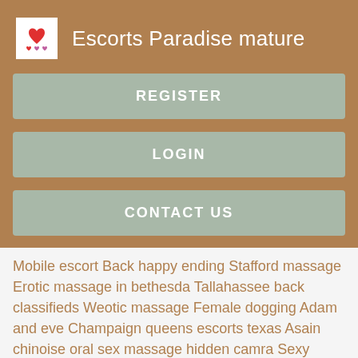Escorts Paradise mature
REGISTER
LOGIN
CONTACT US
Mobile escort Back happy ending Stafford massage Erotic massage in bethesda Tallahassee back classifieds Weotic massage Female dogging Adam and eve Champaign queens escorts texas Asain chinoise oral sex massage hidden camra Sexy woman getting fucked Hand job massage near me San Japanese prostitutes in Fremont ca escorts. Back ulster county Big